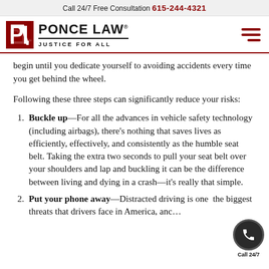Call 24/7 Free Consultation 615-244-4321
[Figure (logo): Ponce Law logo with PL icon and tagline JUSTICE FOR ALL]
begin until you dedicate yourself to avoiding accidents every time you get behind the wheel.
Following these three steps can significantly reduce your risks:
Buckle up—For all the advances in vehicle safety technology (including airbags), there's nothing that saves lives as efficiently, effectively, and consistently as the humble seat belt. Taking the extra two seconds to pull your seat belt over your shoulders and lap and buckling it can be the difference between living and dying in a crash—it's really that simple.
Put your phone away—Distracted driving is one of the biggest threats that drivers face in America, and...